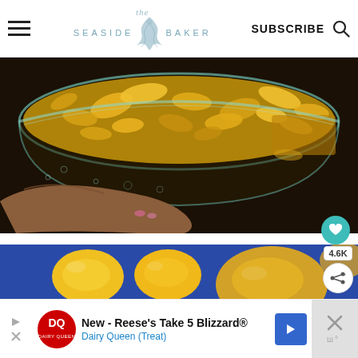The Seaside Baker — SUBSCRIBE
[Figure (photo): Close-up photo of a glass bowl filled with yellow cornflakes/crumbs, held by a hand with painted nails, on a dark background.]
[Figure (photo): Photo of small bright yellow oval fruits (loquats or similar) on a blue surface.]
[Figure (other): Advertisement banner: New - Reese's Take 5 Blizzard® Dairy Queen (Treat) with DQ logo and navigation arrow icon.]